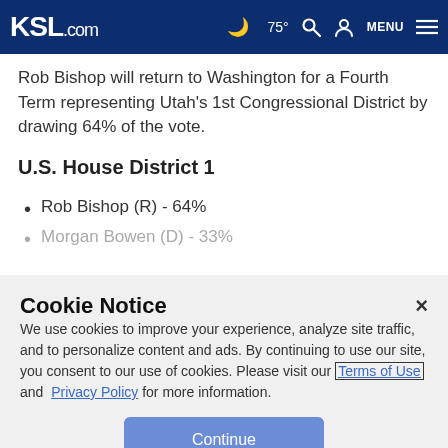KSL.com  75°  [search] [user] MENU
Rob Bishop will return to Washington for a Fourth Term representing Utah's 1st Congressional District by drawing 64% of the vote.
U.S. House District 1
Rob Bishop (R) - 64%
Morgan Bowen (D) - 33%
Cookie Notice
We use cookies to improve your experience, analyze site traffic, and to personalize content and ads. By continuing to use our site, you consent to our use of cookies. Please visit our Terms of Use and  Privacy Policy for more information.
Continue